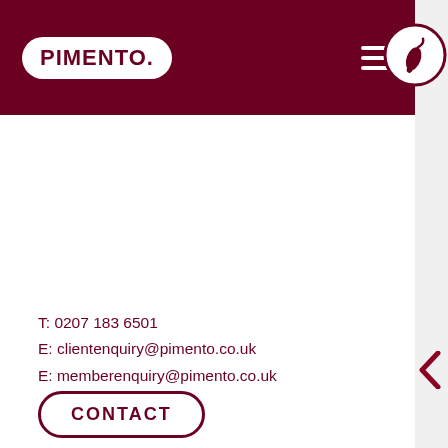PIMENTO.
T: 0207 183 6501
E: clientenquiry@pimento.co.uk
E: memberenquiry@pimento.co.uk
CONTACT